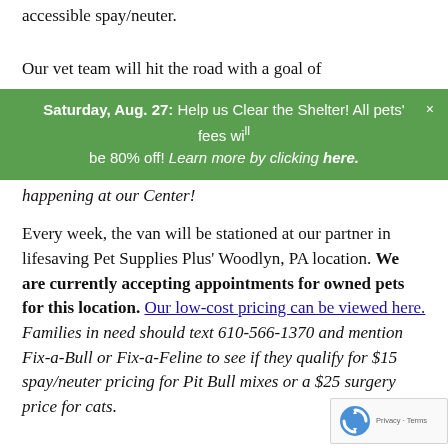accessible spay/neuter.
Our vet team will hit the road with a goal of
Saturday, Aug. 27: Help us Clear the Shelter! All pets' fees will be 80% off! Learn more by clicking here.
happening at our Center!
Every week, the van will be stationed at our partner in lifesaving Pet Supplies Plus' Woodlyn, PA location. We are currently accepting appointments for owned pets for this location. Our low-cost pricing can be viewed here. Families in need should text 610-566-1370 and mention Fix-a-Bull or Fix-a-Feline to see if they qualify for $15 spay/neut pricing for Pit Bull mixes or a $25 surgery pri cats.